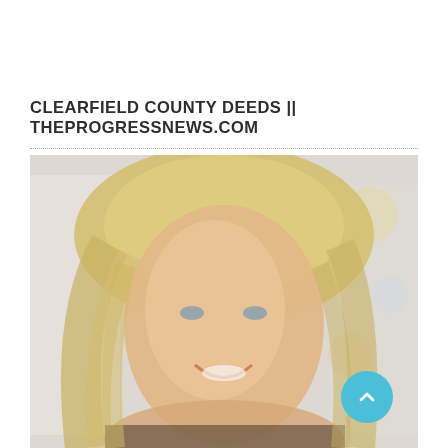CLEARFIELD COUNTY DEEDS || THEPROGRESSNEWS.COM
[Figure (photo): Portrait photo of a smiling woman with long blonde hair, appearing to be an outdoor or indoor professional headshot with a blurred light background.]